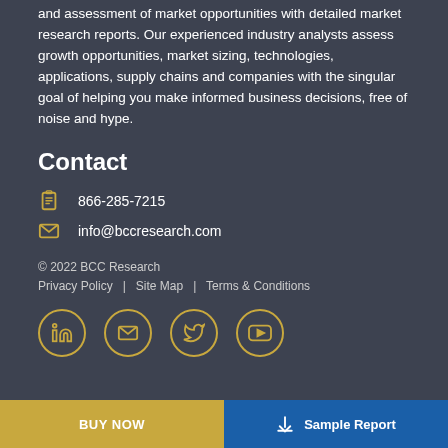and assessment of market opportunities with detailed market research reports. Our experienced industry analysts assess growth opportunities, market sizing, technologies, applications, supply chains and companies with the singular goal of helping you make informed business decisions, free of noise and hype.
Contact
866-285-7215
info@bccresearch.com
© 2022 BCC Research
Privacy Policy  |  Site Map  |  Terms & Conditions
[Figure (other): Social media icons: LinkedIn, Email, Twitter, YouTube - circular gold-bordered icons]
BUY NOW   Sample Report